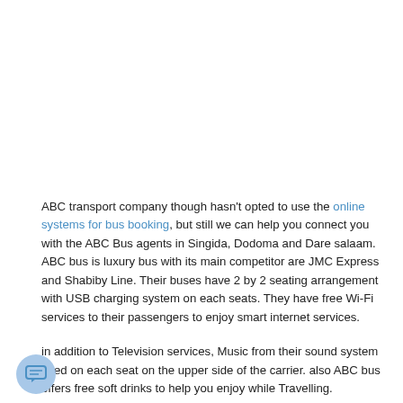ABC transport company though hasn't opted to use the online systems for bus booking, but still we can help you connect you with the ABC Bus agents in Singida, Dodoma and Dare salaam. ABC bus is luxury bus with its main competitor are JMC Express and Shabiby Line. Their buses have 2 by 2 seating arrangement with USB charging system on each seats. They have free Wi-Fi services to their passengers to enjoy smart internet services.
in addition to Television services, Music from their sound system fitted on each seat on the upper side of the carrier. also ABC bus offers free soft drinks to help you enjoy while Travelling.